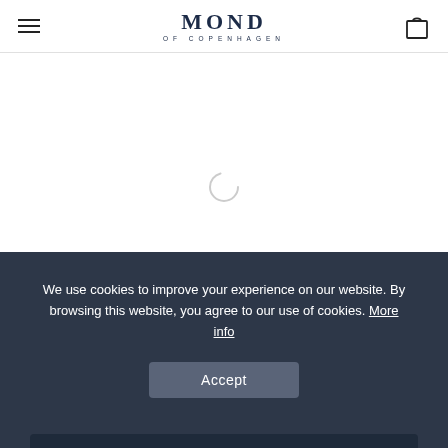MOND OF COPENHAGEN — navigation header with hamburger menu and shopping bag icon
[Figure (other): Loading spinner (circular arc) centered in white content area]
We use cookies to improve your experience on our website. By browsing this website, you agree to our use of cookies. More info
Accept